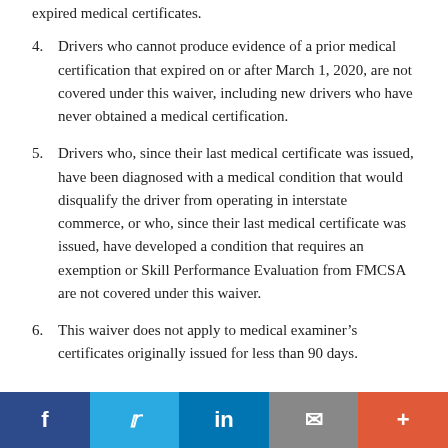expired medical certificates.
4. Drivers who cannot produce evidence of a prior medical certification that expired on or after March 1, 2020, are not covered under this waiver, including new drivers who have never obtained a medical certification.
5. Drivers who, since their last medical certificate was issued, have been diagnosed with a medical condition that would disqualify the driver from operating in interstate commerce, or who, since their last medical certificate was issued, have developed a condition that requires an exemption or Skill Performance Evaluation from FMCSA are not covered under this waiver.
6. This waiver does not apply to medical examiner’s certificates originally issued for less than 90 days.
f  [twitter]  in  [mail]  +